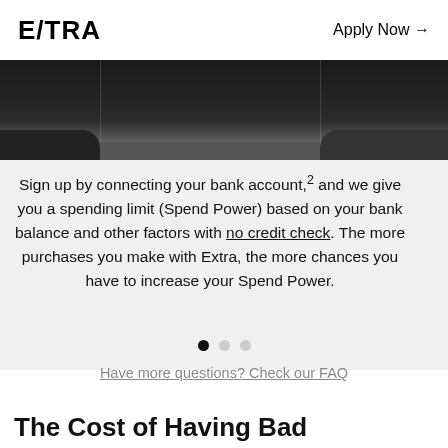EXTRA   Apply Now →
[Figure (screenshot): Dark card UI screenshot showing card interface with dividers and rounded bottom corners]
Sign up by connecting your bank account,2 and we give you a spending limit (Spend Power) based on your bank balance and other factors with no credit check. The more purchases you make with Extra, the more chances you have to increase your Spend Power.
● ● ●
Have more questions? Check our FAQ
The Cost of Having Bad